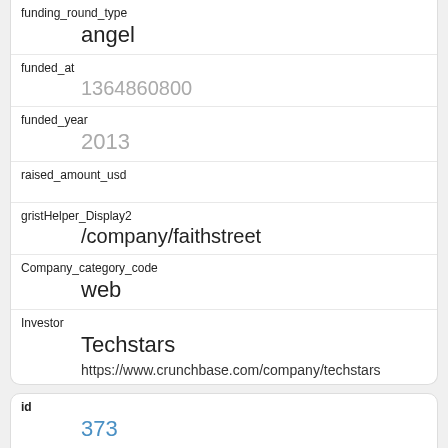| funding_round_type | angel |
| funded_at | 1364860800 |
| funded_year | 2013 |
| raised_amount_usd |  |
| gristHelper_Display2 | /company/faithstreet |
| Company_category_code | web |
| Investor | Techstars
https://www.crunchbase.com/company/techstars |
| id | 373 |
| manualSort | 373 |